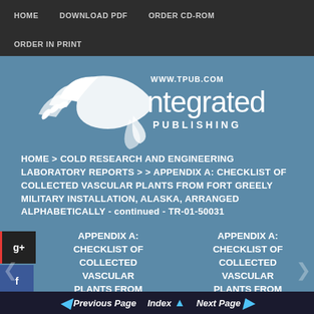HOME   DOWNLOAD PDF   ORDER CD-ROM   ORDER IN PRINT
[Figure (logo): Integrated Publishing logo with bird/plant graphic and WWW.TPUB.COM text]
HOME > COLD RESEARCH AND ENGINEERING LABORATORY REPORTS > > APPENDIX A: CHECKLIST OF COLLECTED VASCULAR PLANTS FROM FORT GREELY MILITARY INSTALLATION, ALASKA, ARRANGED ALPHABETICALLY - continued - TR-01-50031
APPENDIX A: CHECKLIST OF COLLECTED VASCULAR PLANTS FROM FORT GREELY MILITARY
APPENDIX A: CHECKLIST OF COLLECTED VASCULAR PLANTS FROM FORT GREELY MILITARY
Previous Page   Index   Next Page